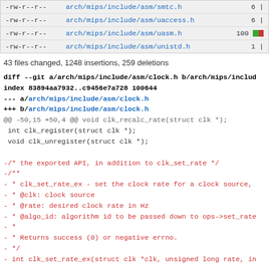| permissions | filepath | count |
| --- | --- | --- |
| -rw-r--r-- | arch/mips/include/asm/smtc.h | 6 | |
| -rw-r--r-- | arch/mips/include/asm/uaccess.h | 6 | |
| -rw-r--r-- | arch/mips/include/asm/uasm.h | 100 ██ |
| -rw-r--r-- | arch/mips/include/asm/unistd.h | 1 | |
43 files changed, 1248 insertions, 259 deletions
diff --git a/arch/mips/include/asm/clock.h b/arch/mips/include/
index 83894aa7932..c9456e7a728 100644
--- a/arch/mips/include/asm/clock.h
+++ b/arch/mips/include/asm/clock.h
@@ -50,15 +50,4 @@ void clk_recalc_rate(struct clk *);
 int clk_register(struct clk *);
 void clk_unregister(struct clk *);

-/* the exported API, in addition to clk_set_rate */
-/**
- * clk_set_rate_ex - set the clock rate for a clock source,
- * @clk: clock source
- * @rate: desired clock rate in Hz
- * @algo_id: algorithm id to be passed down to ops->set_rate
- *
- * Returns success (0) or negative errno.
- */
- int clk_set_rate_ex(struct clk *clk, unsigned long rate, in